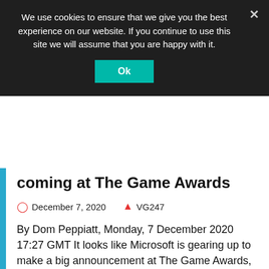We use cookies to ensure that we give you the best experience on our website. If you continue to use this site we will assume that you are happy with it.
Ok
coming at The Game Awards
December 7, 2020   VG247
By Dom Peppiatt, Monday, 7 December 2020 17:27 GMT It looks like Microsoft is gearing up to make a big announcement at The Game Awards, which takes place later this week on December 10.According to industry insider and proven reliable source, GamesBeat's Jeff Grubb, Microsoft and Xbox will be sharing some interesting news this coming week, with a special announcement apparently lined up for The Game Awards show.His